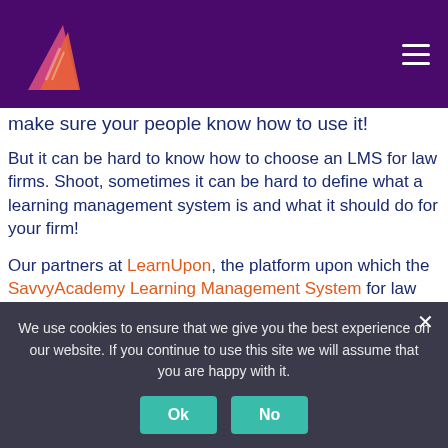Navigation header with logo and hamburger menu
make sure your people know how to use it!
But it can be hard to know how to choose an LMS for law firms. Shoot, sometimes it can be hard to define what a learning management system is and what it should do for your firm!
Our partners at LearnUpon, the platform upon which the SavvyAcademy Learning Management System for law firms was built, recently wrote an article addressing these questions. I've adapted it for our law firm audience below. I
We use cookies to ensure that we give you the best experience on our website. If you continue to use this site we will assume that you are happy with it.